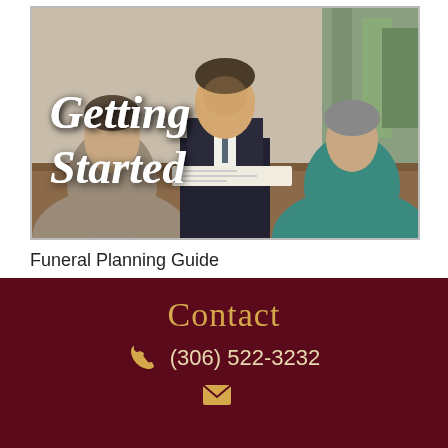[Figure (photo): A business consultation scene: a man in a suit (advisor) sitting across a table from two people (clients seen from behind), with the text 'Getting Started' overlaid in italic white script font.]
Funeral Planning Guide
Contact
(306) 522-3232